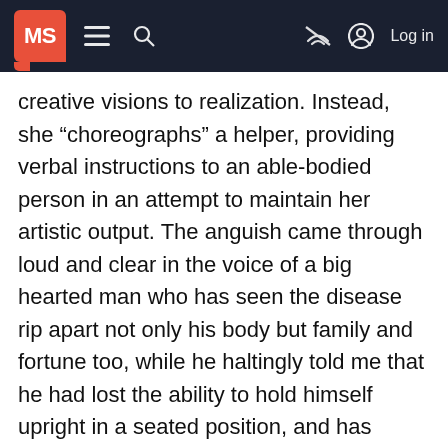MS [logo] | Log in
creative visions to realization. Instead, she “choreographs” a helper, providing verbal instructions to an able-bodied person in an attempt to maintain her artistic output. The anguish came through loud and clear in the voice of a big hearted man who has seen the disease rip apart not only his body but family and fortune too, while he haltingly told me that he had lost the ability to hold himself upright in a seated position, and has suddenly been plagued with fecal incontinence.
Through my many years of actively taking